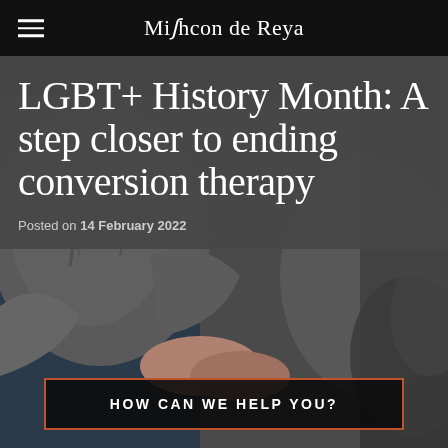Mishcon de Reya
LGBT+ History Month: A step closer to ending conversion therapy
Posted on 14 February 2022
[Figure (photo): Close-up photo of two people sitting together, one person holding or touching the other person's hands, both wearing casual jackets, shot in muted grey tones]
HOW CAN WE HELP YOU?